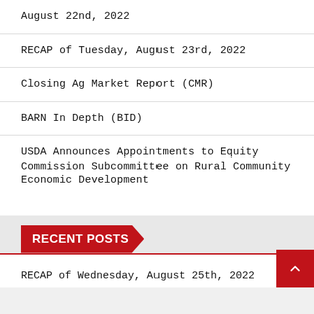August 22nd, 2022
RECAP of Tuesday, August 23rd, 2022
Closing Ag Market Report (CMR)
BARN In Depth (BID)
USDA Announces Appointments to Equity Commission Subcommittee on Rural Community Economic Development
RECENT POSTS
RECAP of Wednesday, August 25th, 2022